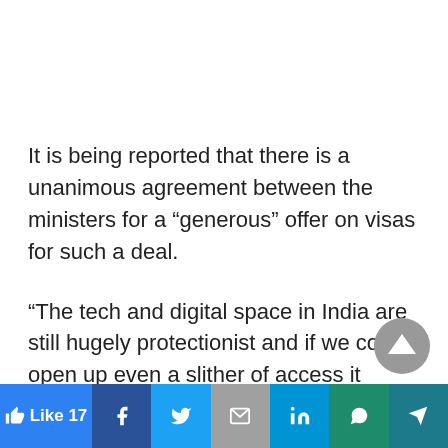It is being reported that there is a unanimous agreement between the ministers for a “generous” offer on visas for such a deal.
“The tech and digital space in India are still hugely protectionist and if we could open up even a slither of access it would put us ahead of the game,” a government official told media.
Like 17 | Facebook | Twitter | Email | LinkedIn | WhatsApp | Telegram